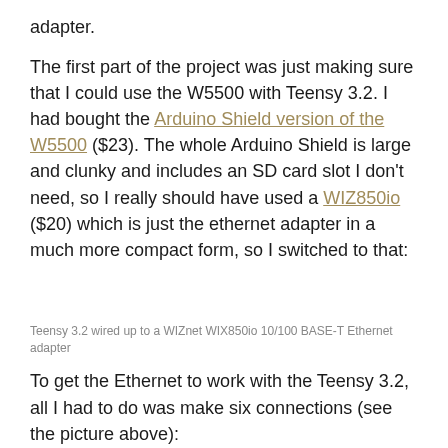adapter.
The first part of the project was just making sure that I could use the W5500 with Teensy 3.2. I had bought the Arduino Shield version of the W5500 ($23). The whole Arduino Shield is large and clunky and includes an SD card slot I don’t need, so I really should have used a WIZ850io ($20) which is just the ethernet adapter in a much more compact form, so I switched to that:
Teensy 3.2 wired up to a WIZnet WIX850io 10/100 BASE-T Ethernet adapter
To get the Ethernet to work with the Teensy 3.2, all I had to do was make six connections (see the picture above):